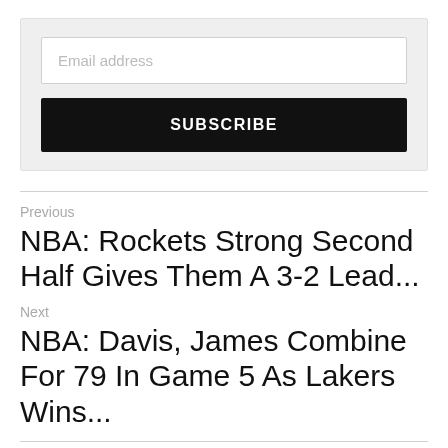[Figure (screenshot): Email subscription form with an 'Email address' input field and a black 'SUBSCRIBE' button on a light grey background]
Previous
NBA: Rockets Strong Second Half Gives Them A 3-2 Lead...
Next
NBA: Davis, James Combine For 79 In Game 5 As Lakers Wins...
< Return to site